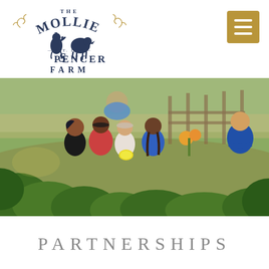[Figure (logo): The Mollie Spencer Farm logo with rooster and sheep silhouettes, navy and gold colors, Est. 1894]
[Figure (photo): Children gathered around garden plants, examining a yellow squash at a farm]
PARTNERSHIPS